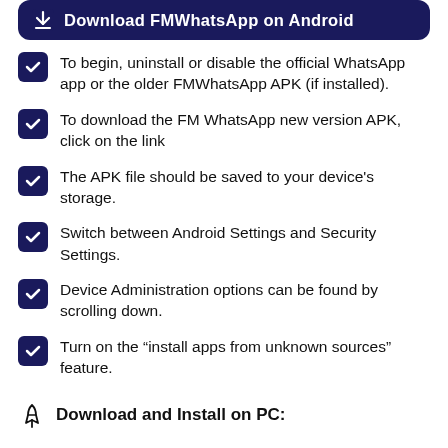[Figure (screenshot): Dark navy blue rounded button with download icon and text 'Download FMWhatsApp on Android']
To begin, uninstall or disable the official WhatsApp app or the older FMWhatsApp APK (if installed).
To download the FM WhatsApp new version APK, click on the link
The APK file should be saved to your device’s storage.
Switch between Android Settings and Security Settings.
Device Administration options can be found by scrolling down.
Turn on the “install apps from unknown sources” feature.
Download and Install on PC: